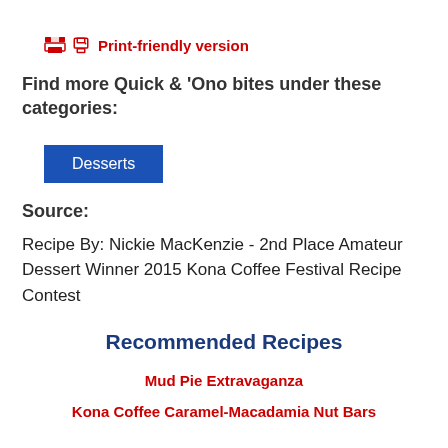Print-friendly version
Find more Quick & 'Ono bites under these categories:
Desserts
Source:
Recipe By: Nickie MacKenzie - 2nd Place Amateur Dessert Winner 2015 Kona Coffee Festival Recipe Contest
Recommended Recipes
Mud Pie Extravaganza
Kona Coffee Caramel-Macadamia Nut Bars